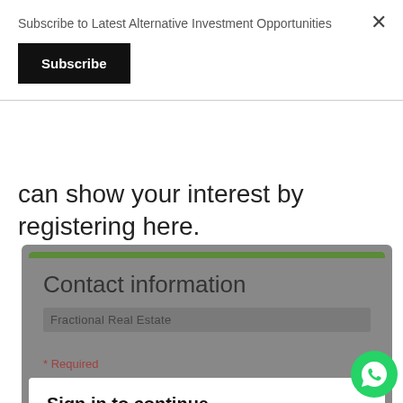Subscribe to Latest Alternative Investment Opportunities
Subscribe
can show your interest by registering here.
Contact information
Fractional Real Estate
* Required
Sign in to continue
To fill out this form, you must be signed in. Your identity will remain anonymous.
Report Abuse